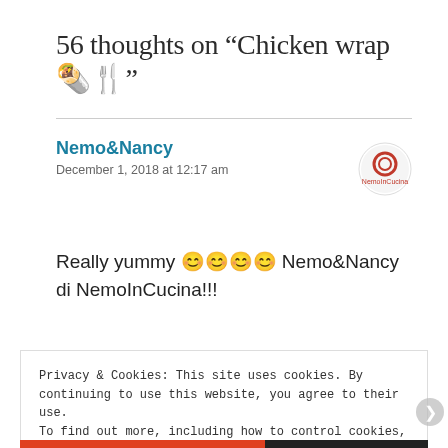56 thoughts on “Chicken wrap 🌯🍴”
Nemo&Nancy
December 1, 2018 at 12:17 am
Really yummy 😊😊😊😊 Nemo&Nancy di NemoInCucina!!!
Privacy & Cookies: This site uses cookies. By continuing to use this website, you agree to their use.
To find out more, including how to control cookies, see here: Cookie Policy
Close and accept